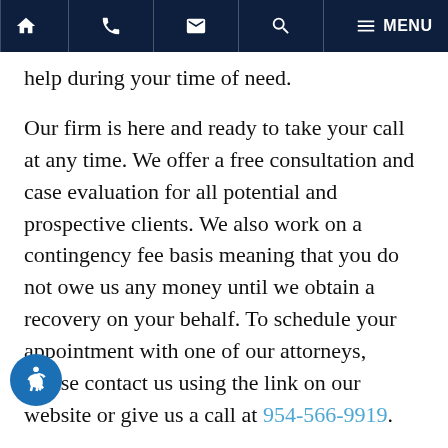Home | Phone | Email | Search | MENU
help during your time of need.
Our firm is here and ready to take your call at any time. We offer a free consultation and case evaluation for all potential and prospective clients. We also work on a contingency fee basis meaning that you do not owe us any money until we obtain a recovery on your behalf. To schedule your appointment with one of our attorneys, please contact us using the link on our website or give us a call at 954-566-9919.
Note: Our team of writers for Boone & Davis Law utilizes secondary sources in the creation of these posts. These sources include newspaper reports, news stories, police reports, social media posts, and eyewitness accounts of injury accidents that take place in South Florida. The facts